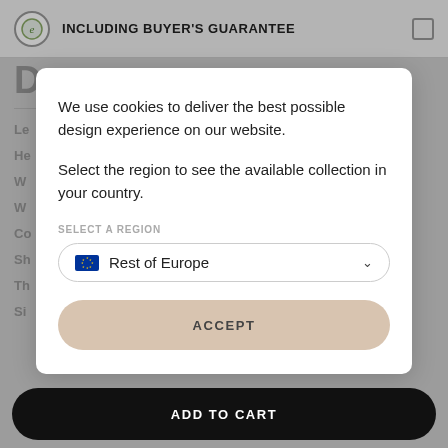INCLUDING BUYER'S GUARANTEE
We use cookies to deliver the best possible design experience on our website.
Select the region to see the available collection in your country.
SELECT A REGION
Rest of Europe
ACCEPT
ADD TO CART